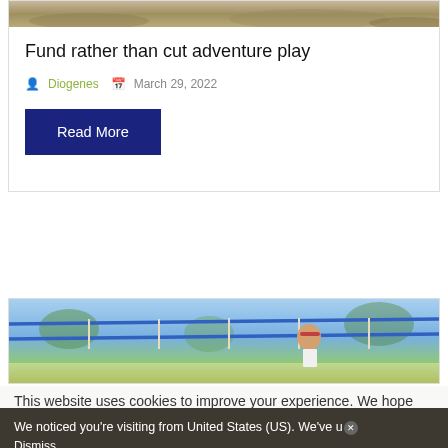[Figure (photo): Top portion of outdoor scene, partially visible at top of card]
Fund rather than cut adventure play
Diogenes  March 29, 2022
Read More
[Figure (photo): Child climbing on blue rope obstacle course structure outdoors]
This website uses cookies to improve your experience. We hope
We noticed you're visiting from United States (US). We've updated our prices to United States (US) dollar for your shopping convenience. Use Pound sterling instead.